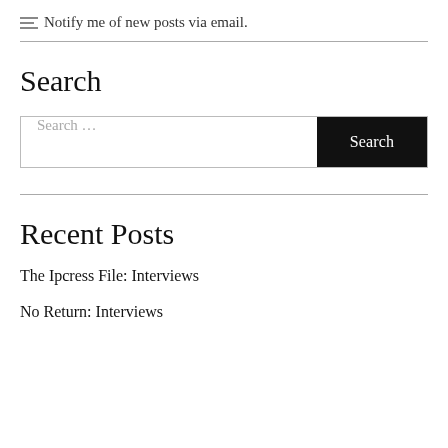Notify me of new posts via email.
Search
Search …
Recent Posts
The Ipcress File: Interviews
No Return: Interviews